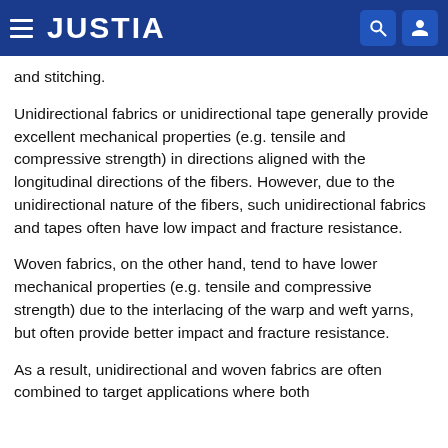JUSTIA
and stitching.
Unidirectional fabrics or unidirectional tape generally provide excellent mechanical properties (e.g. tensile and compressive strength) in directions aligned with the longitudinal directions of the fibers. However, due to the unidirectional nature of the fibers, such unidirectional fabrics and tapes often have low impact and fracture resistance.
Woven fabrics, on the other hand, tend to have lower mechanical properties (e.g. tensile and compressive strength) due to the interlacing of the warp and weft yarns, but often provide better impact and fracture resistance.
As a result, unidirectional and woven fabrics are often combined to target applications where both...